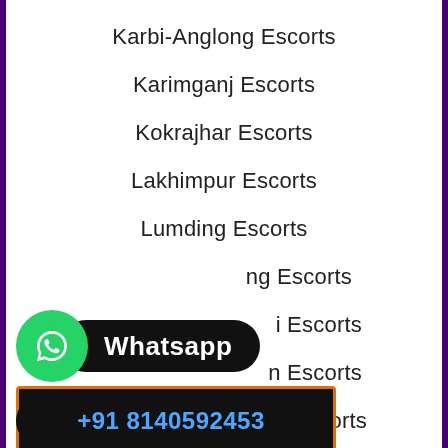Karbi-Anglong Escorts
Karimganj Escorts
Kokrajhar Escorts
Lakhimpur Escorts
Lumding Escorts
...ng Escorts
...i Escorts
...n Escorts
...doi Escorts
[Figure (infographic): WhatsApp button with green circle icon and black rounded rectangle label reading Whatsapp]
[Figure (infographic): Black rounded button with blue phone number +91 8140592453]
[Figure (infographic): Black button with orange border, red lips icon, and yellow italic text CLICK CALL]